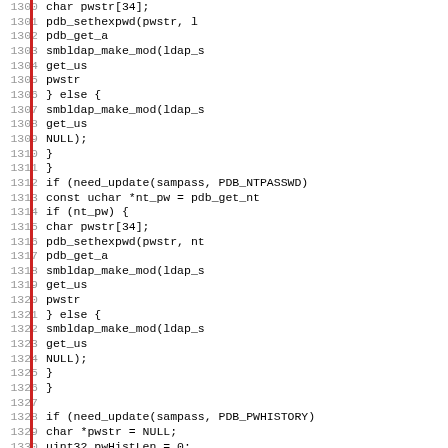[Figure (screenshot): Source code listing showing C code lines 1300-1331 with line numbers in gray on the left and a red vertical bar, displaying password database update logic with smbldap_make_mod and pdb_sethexpwd function calls]